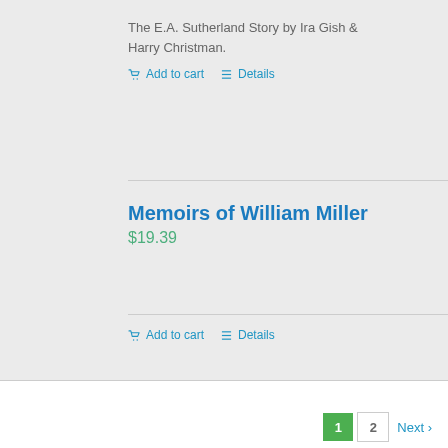The E.A. Sutherland Story by Ira Gish & Harry Christman.
Add to cart
Details
Memoirs of William Miller
$19.39
Add to cart
Details
1  2  Next ›